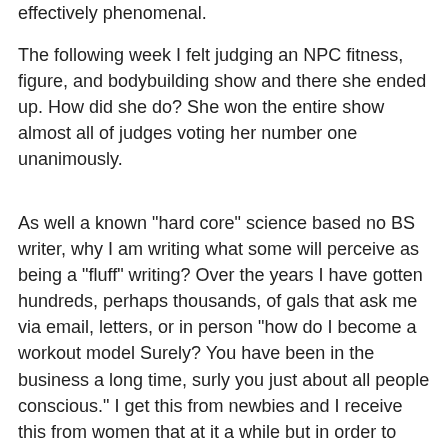effectively phenomenal.
The following week I felt judging an NPC fitness, figure, and bodybuilding show and there she ended up. How did she do? She won the entire show almost all of judges voting her number one unanimously.
As well a known "hard core" science based no BS writer, why I am writing what some will perceive as being a "fluff" writing? Over the years I have gotten hundreds, perhaps thousands, of gals that ask me via email, letters, or in person "how do I become a workout model Surely? You have been in the business a long time, surly you just about all people conscious." I get this from newbies and I receive this from women that at it a while but in order to unable to "break in" effectively.